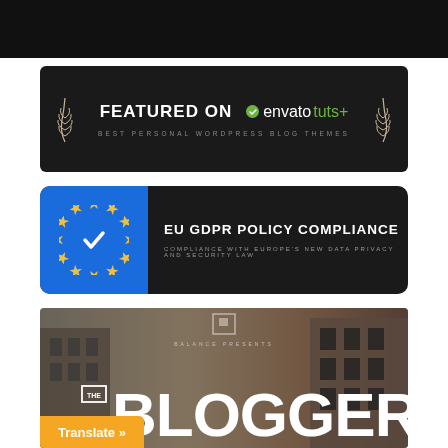[Figure (screenshot): Black banner strip at top of page]
[Figure (screenshot): Dark banner reading FEATURED ON envato tuts+ BEST PERSONAL WORDPRESS BLOG THEMES with leaf decorations]
[Figure (screenshot): EU GDPR POLICY COMPLIANCE banner with blue EU stars logo and dark background, subtitle: COMPLIANCE WITH EUROPE'S NEW DATA PRIVACY AND SECURITY LAW]
[Figure (screenshot): THE BLOGGER theme screenshot with city building background, large white BLOGGER text, and orange Translate button]